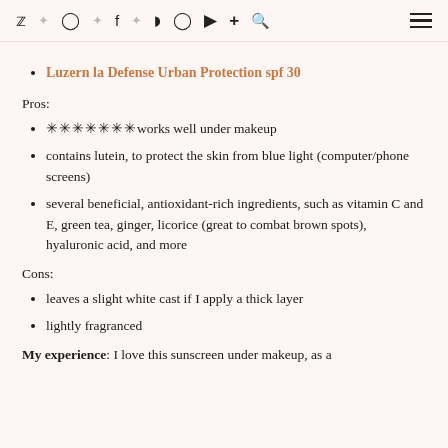Social media nav icons and hamburger menu
Luzern la Defense Urban Protection spf 30
Pros:
✳✳✳✳✳✳✳works well under makeup
contains lutein, to protect the skin from blue light (computer/phone screens)
several beneficial, antioxidant-rich ingredients, such as vitamin C and E, green tea, ginger, licorice (great to combat brown spots), hyaluronic acid, and more
Cons:
leaves a slight white cast if I apply a thick layer
lightly fragranced
My experience: I love this sunscreen under makeup, as a